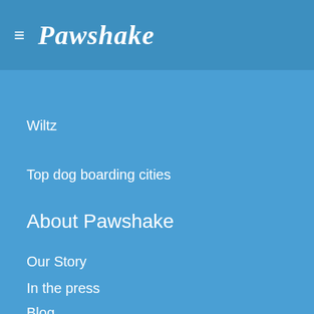Pawshake
Wiltz
Top dog boarding cities
About Pawshake
Our Story
In the press
Blog
Help
Payment Methods